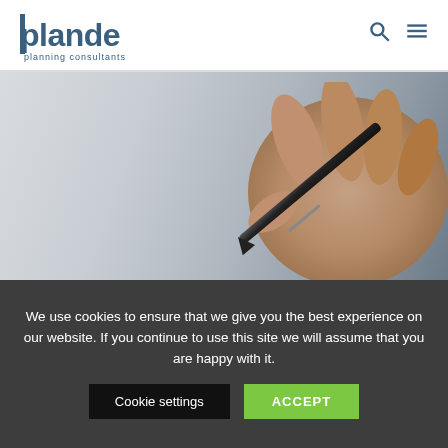[Figure (logo): Plande planning consultants logo — stylized text 'plande' in dark teal with a vertical bar before the 'p', and 'planning consultants' subtitle below]
[Figure (photo): Close-up photo of a hand holding a pen, writing on white paper — light grey and warm skin-tone background]
We use cookies to ensure that we give you the best experience on our website. If you continue to use this site we will assume that you are happy with it.
Cookie settings
ACCEPT